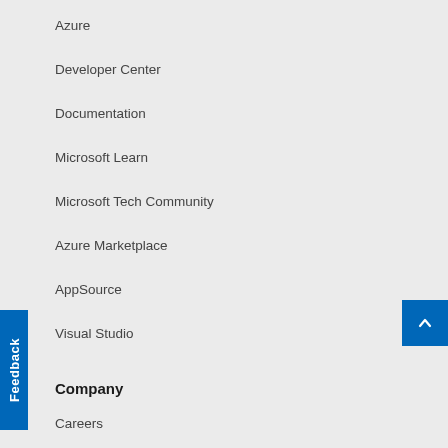Azure
Developer Center
Documentation
Microsoft Learn
Microsoft Tech Community
Azure Marketplace
AppSource
Visual Studio
Company
Careers
About Microsoft
Company news
Privacy at Microsoft